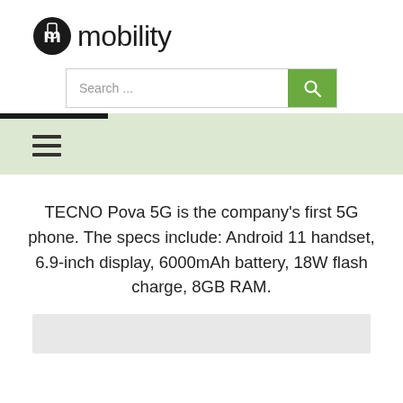[Figure (logo): Mobility logo with a circular icon containing letter m and a phone silhouette, followed by the word 'mobility' in dark text]
[Figure (screenshot): Search bar with placeholder text 'Search ...' and a green search button with magnifying glass icon]
[Figure (screenshot): Navigation bar with green background, black top bar accent, and hamburger menu icon (three horizontal lines)]
TECNO Pova 5G is the company's first 5G phone. The specs include: Android 11 handset, 6.9-inch display, 6000mAh battery, 18W flash charge, 8GB RAM.
[Figure (photo): Light gray image placeholder at bottom of page]